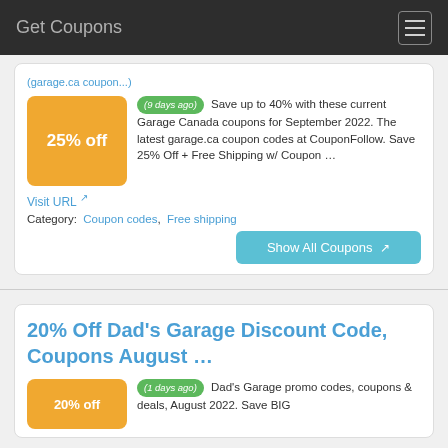Get Coupons
(9 days ago) Save up to 40% with these current Garage Canada coupons for September 2022. The latest garage.ca coupon codes at CouponFollow. Save 25% Off + Free Shipping w/ Coupon …
Visit URL
Category: Coupon codes, Free shipping
Show All Coupons
20% Off Dad's Garage Discount Code, Coupons August …
(1 days ago) Dad's Garage promo codes, coupons & deals, August 2022. Save BIG